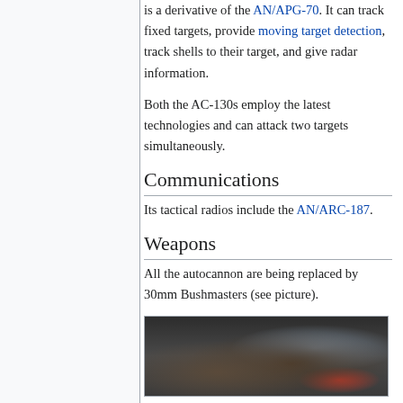is a derivative of the AN/APG-70. It can track fixed targets, provide moving target detection, track shells to their target, and give radar information.
Both the AC-130s employ the latest technologies and can attack two targets simultaneously.
Communications
Its tactical radios include the AN/ARC-187.
Weapons
All the autocannon are being replaced by 30mm Bushmasters (see picture).
[Figure (photo): Photo of soldiers or crew inside an aircraft, showing interior equipment and personnel]